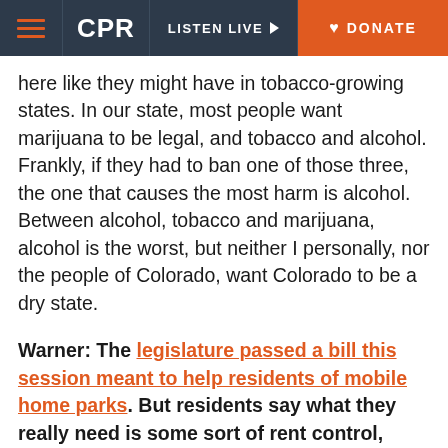CPR | LISTEN LIVE | DONATE
here like they might have in tobacco-growing states. In our state, most people want marijuana to be legal, and tobacco and alcohol. Frankly, if they had to ban one of those three, the one that causes the most harm is alcohol. Between alcohol, tobacco and marijuana, alcohol is the worst, but neither I personally, nor the people of Colorado, want Colorado to be a dry state.
Warner: The legislature passed a bill this session meant to help residents of mobile home parks. But residents say what they really need is some sort of rent control, which is something you threatened to veto earlier this session. Your office said you would support reforms that won't lead to